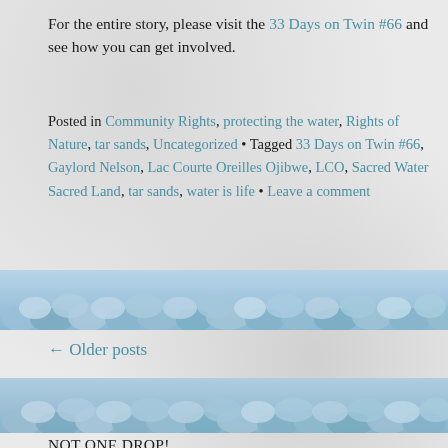For the entire story, please visit the 33 Days on Twin #66 and see how you can get involved.
Posted in Community Rights, protecting the water, Rights of Nature, tar sands, Uncategorized • Tagged 33 Days on Twin #66, Gaylord Nelson, Lac Courte Oreilles Ojibwe, LCO, Sacred Water Sacred Land, tar sands, water is life • Leave a comment
[Figure (photo): A decorative horizontal band showing blue rounded rocks/pebbles]
← Older posts
[Figure (photo): A second decorative horizontal band showing blue rounded rocks/pebbles]
NOT ONE DROP!
WISCONSIN